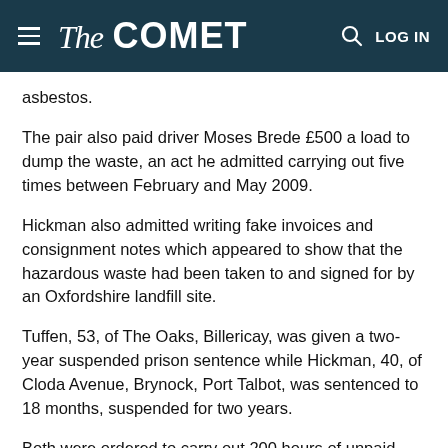The COMET — LOG IN
asbestos.
The pair also paid driver Moses Brede £500 a load to dump the waste, an act he admitted carrying out five times between February and May 2009.
Hickman also admitted writing fake invoices and consignment notes which appeared to show that the hazardous waste had been taken to and signed for by an Oxfordshire landfill site.
Tuffen, 53, of The Oaks, Billericay, was given a two-year suspended prison sentence while Hickman, 40, of Cloda Avenue, Brynock, Port Talbot, was sentenced to 18 months, suspended for two years.
Both were ordered to carry out 200 hours of unpaid work.